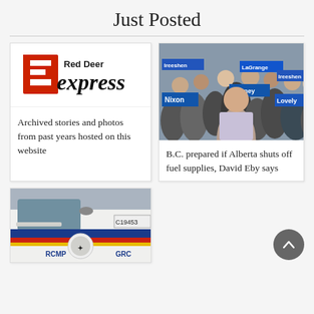Just Posted
[Figure (logo): Red Deer Express logo — red block letter E with 'xpress' in black, 'Red Deer' above in smaller text]
Archived stories and photos from past years hosted on this website
[Figure (photo): Political rally crowd holding signs including Nixon, Kenney, LaGrange, Ireeshen, Lovely — man in foreground addressing crowd]
B.C. prepared if Alberta shuts off fuel supplies, David Eby says
[Figure (photo): RCMP / GRC police vehicle close-up showing side door with coloured stripe and crest, licence plate partial C19453]